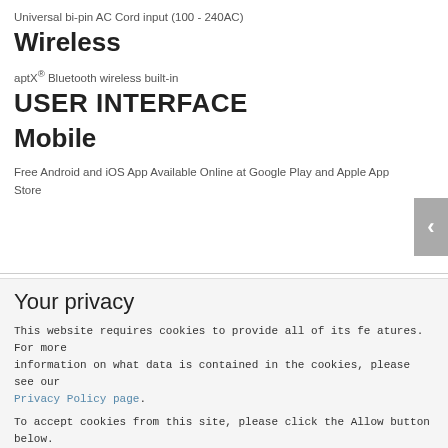Universal bi-pin AC Cord input (100 - 240AC)
Wireless
aptX® Bluetooth wireless built-in
USER INTERFACE
Mobile
Free Android and iOS App Available Online at Google Play and Apple App Store
Your privacy
This website requires cookies to provide all of its features. For more information on what data is contained in the cookies, please see our Privacy Policy page.
To accept cookies from this site, please click the Allow button below.